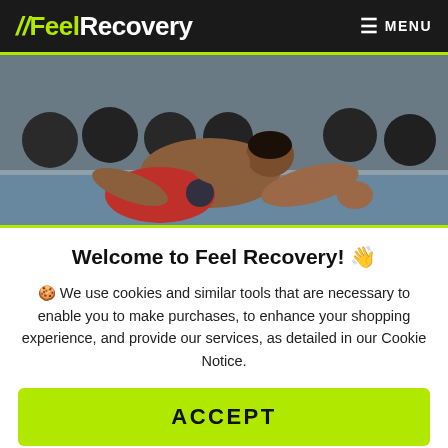FeelRecovery  MENU
[Figure (photo): A man performing a stretching or rolling exercise on the floor in a gym, with kettlebells in the background. He is shirtless and wearing red shorts, leaning on a foam roller.]
Welcome to Feel Recovery! 👋
🍪 We use cookies and similar tools that are necessary to enable you to make purchases, to enhance your shopping experience, and provide our services, as detailed in our Cookie Notice.
ACCEPT
Read More